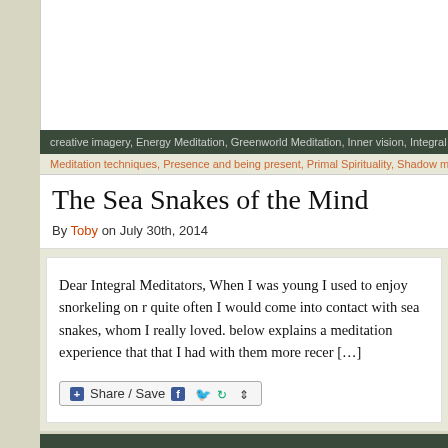creative imagery, Energy Meditation, Greenworld Meditation, Inner vision, Integral Aware...
Meditation techniques, Presence and being present, Primal Spirituality, Shadow medita...
The Sea Snakes of the Mind
By Toby on July 30th, 2014
Dear Integral Meditators, When I was young I used to enjoy snorkeling on r... quite often I would come into contact with sea snakes, whom I really loved. below explains a meditation experience that that I had with them more recer... [...]
[Figure (screenshot): Share / Save button with social media icons (Facebook, Twitter, share arrows)]